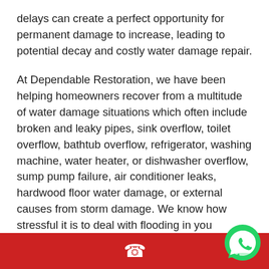delays can create a perfect opportunity for permanent damage to increase, leading to potential decay and costly water damage repair.
At Dependable Restoration, we have been helping homeowners recover from a multitude of water damage situations which often include broken and leaky pipes, sink overflow, toilet overflow, bathtub overflow, refrigerator, washing machine, water heater, or dishwasher overflow, sump pump failure, air conditioner leaks, hardwood floor water damage, or external causes from storm damage. We know how stressful it is to deal with flooding in you